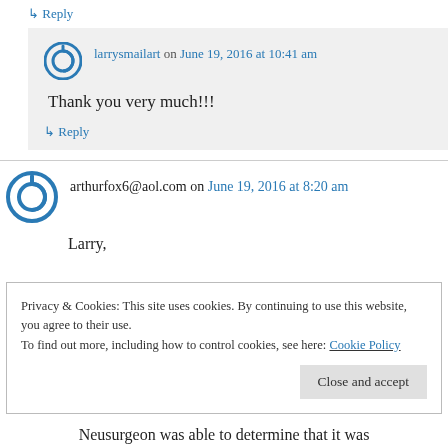↳ Reply
larrysmailart on June 19, 2016 at 10:41 am
Thank you very much!!!
↳ Reply
arthurfox6@aol.com on June 19, 2016 at 8:20 am
Larry,
Privacy & Cookies: This site uses cookies. By continuing to use this website, you agree to their use.
To find out more, including how to control cookies, see here: Cookie Policy
Close and accept
Neusurgeon was able to determine that it was